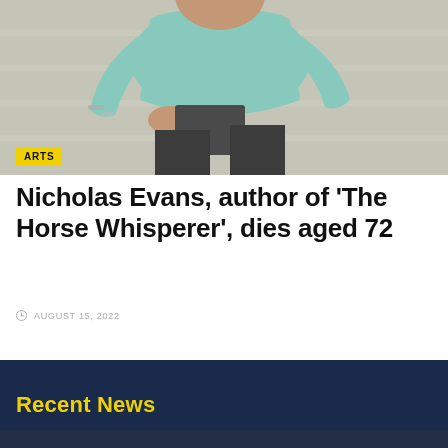[Figure (photo): Man in light blue shirt sitting on steps, wearing bracelets, holding something dark, viewed from above-front angle]
Nicholas Evans, author of ‘The Horse Whisperer’, dies aged 72
AUGUST 15, 2022
Recent News
Recent news teaser partial text visible at bottom